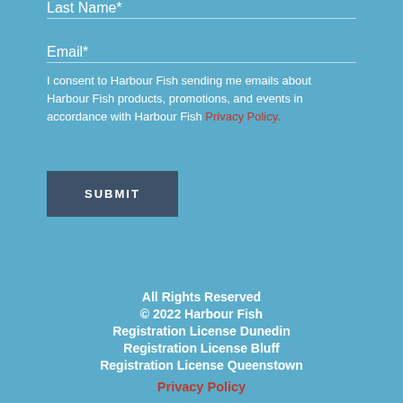Last Name*
Email*
I consent to Harbour Fish sending me emails about Harbour Fish products, promotions, and events in accordance with Harbour Fish Privacy Policy.
SUBMIT
All Rights Reserved
© 2022 Harbour Fish
Registration License Dunedin
Registration License Bluff
Registration License Queenstown
Privacy Policy